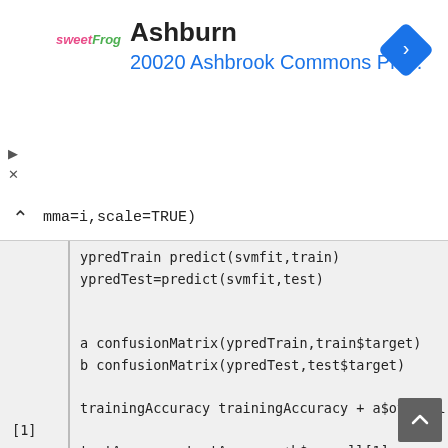[Figure (screenshot): Ad banner showing sweetFrog logo with 'Ashburn' title and '20020 Ashbrook Commons Pla...' subtitle in blue, with a blue navigation diamond icon on the right]
mma=i,scale=TRUE)
ypredTrain predict(svmfit,train)
ypredTest=predict(svmfit,test)

a confusionMatrix(ypredTrain,train$target)
b confusionMatrix(ypredTest,test$target)

trainingAccuracy trainingAccuracy + a$overall [1]
testAccuracy testAccuracy+b$overall[1]

}